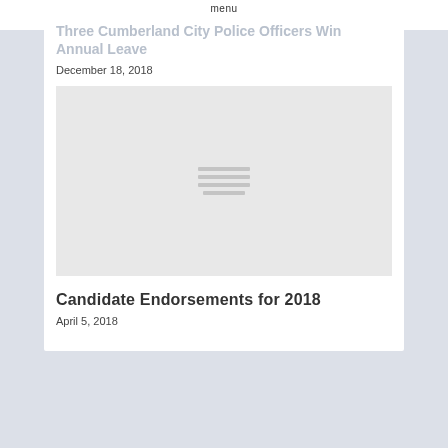menu
Three Cumberland City Police Officers Win Annual Leave
December 18, 2018
[Figure (illustration): Gray placeholder image with horizontal lines in center]
Candidate Endorsements for 2018
April 5, 2018